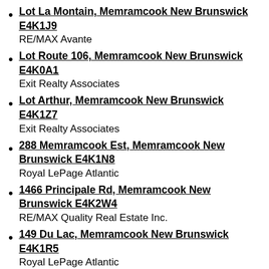Lot La Montain, Memramcook New Brunswick E4K1J9
RE/MAX Avante
Lot Route 106, Memramcook New Brunswick E4K0A1
Exit Realty Associates
Lot Arthur, Memramcook New Brunswick E4K1Z7
Exit Realty Associates
288 Memramcook Est, Memramcook New Brunswick E4K1N8
Royal LePage Atlantic
1466 Principale Rd, Memramcook New Brunswick E4K2W4
RE/MAX Quality Real Estate Inc.
149 Du Lac, Memramcook New Brunswick E4K1R5
Royal LePage Atlantic
119 Renaissance, Memramcook New Brunswick